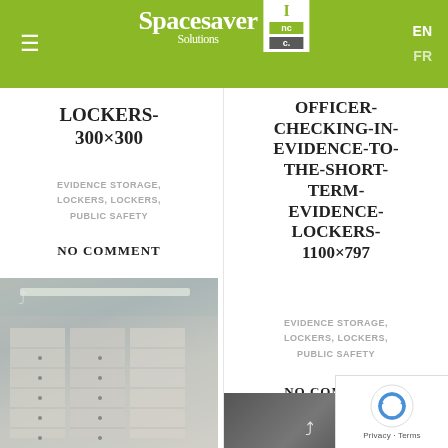≡  Spacesaver Solutions Inc.  EN FR
LOCKERS-300×300
EVIDENCE STORAGE, LOCKERS, LOCKERS, PUBLIC SAFETY
NO COMMENT
[Figure (photo): Photo of modular evidence storage lockers in a facility hallway, beige/white metal locker banks with small numbered compartments and locking mechanisms]
OFFICER-CHECKING-IN-EVIDENCE-TO-THE-SHORT-TERM-EVIDENCE-LOCKERS-1100×797
EVIDENCE STORAGE, LOCKERS, LOCKERS, PUBLIC SAFETY
NO COMMENT
[Figure (photo): Partial bottom image visible, dark gray triangular corner of another photo with a share/reply icon overlay]